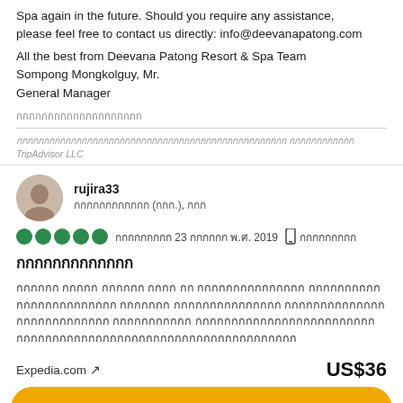Spa again in the future. Should you require any assistance, please feel free to contact us directly: info@deevanapatong.com
All the best from Deevana Patong Resort & Spa Team
Sompong Mongkolguy, Mr.
General Manager
[Thai text]
[Thai disclaimer text] TripAdvisor LLC
rujira33
[Thai location text]
[5 circles rating] [Thai date text] 23 [Thai month] พ.ศ. 2019 [mobile icon] [Thai text]
[Thai review title]
[Thai review body text]
Expedia.com ↗  US$36
[Thai book button text]